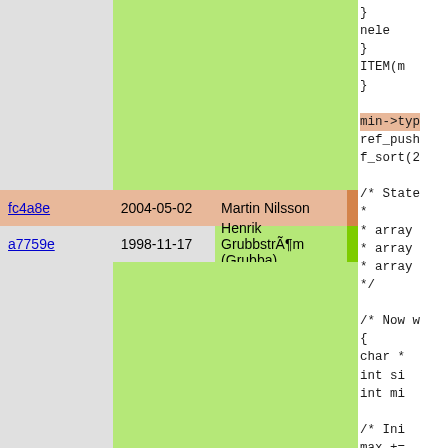[Figure (screenshot): Git blame view showing two rows: fc4a8e (2004-05-02, Martin Nilsson) and a7759e (1998-11-17, Henrik Grubbström (Grubba)), with source code visible on the right side including C code snippets with comments and variable declarations.]